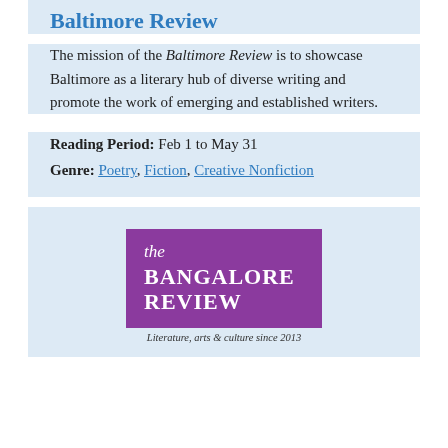Baltimore Review
The mission of the Baltimore Review is to showcase Baltimore as a literary hub of diverse writing and promote the work of emerging and established writers.
Reading Period: Feb 1 to May 31
Genre: Poetry, Fiction, Creative Nonfiction
[Figure (logo): The Bangalore Review logo — purple rectangle with italic 'the' in white, 'BANGALORE REVIEW' in bold white, and tagline 'Literature, arts & culture since 2013' in italic below.]